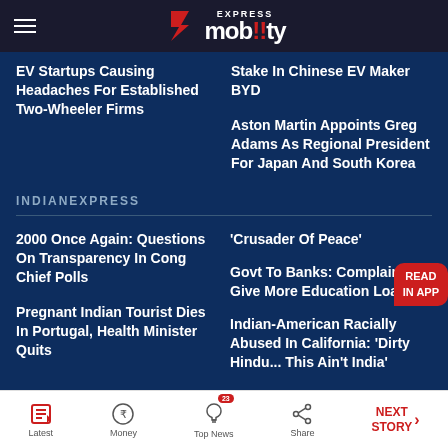EXPRESS mobility
EV Startups Causing Headaches For Established Two-Wheeler Firms
Stake In Chinese EV Maker BYD
Aston Martin Appoints Greg Adams As Regional President For Japan And South Korea
INDIANEXPRESS
2000 Once Again: Questions On Transparency In Cong Chief Polls
'Crusader Of Peace'
Govt To Banks: Complaint Give More Education Loans
Pregnant Indian Tourist Dies In Portugal, Health Minister Quits
Indian-American Racially Abused In California: 'Dirty Hindu... This Ain't India'
Latest | Money | Top News 23 | Share | NEXT STORY